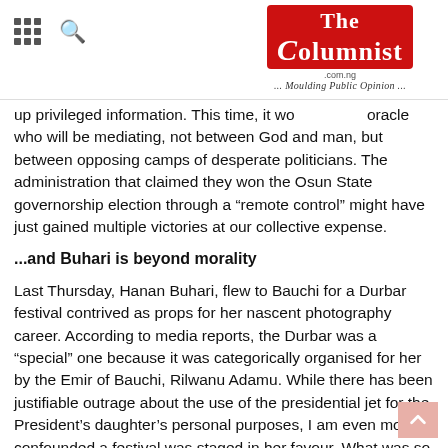The Columnist .com.ng ... Moulding Public Opinion ...
up privileged information. This time, it would be the oracle who will be mediating, not between God and man, but between opposing camps of desperate politicians. The administration that claimed they won the Osun State governorship election through a “remote control” might have just gained multiple victories at our collective expense.
...and Buhari is beyond morality
Last Thursday, Hanan Buhari, flew to Bauchi for a Durbar festival contrived as props for her nascent photography career. According to media reports, the Durbar was a “special” one because it was categorically organised for her by the Emir of Bauchi, Rilwanu Adamu. While there has been justifiable outrage about the use of the presidential jet for the President’s daughter’s personal purposes, I am even more confounded a festival was staged in her favour. What was so special about her photography that Aso Rock and Bauchi had to expend millions of naira to fulfil it?